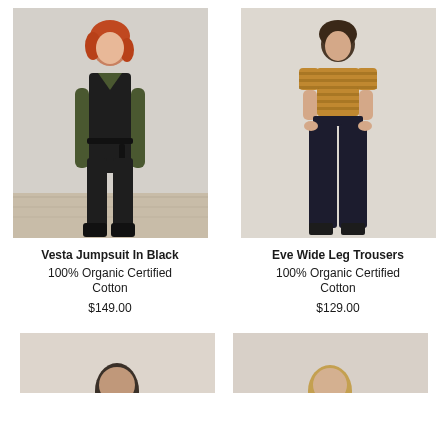[Figure (photo): Woman with red hair wearing black V-neck jumpsuit with long dark green sleeves and black boots, standing on wooden floor with light grey backdrop]
[Figure (photo): Woman wearing a mustard/brown striped short-sleeve top and wide-leg black trousers with sandals, standing against a beige backdrop]
Vesta Jumpsuit In Black
100% Organic Certified Cotton
$149.00
Eve Wide Leg Trousers
100% Organic Certified Cotton
$129.00
[Figure (photo): Partial view of a woman with dark hair, cropped at top of page bottom]
[Figure (photo): Partial view of a woman with blonde hair, cropped at top of page bottom]